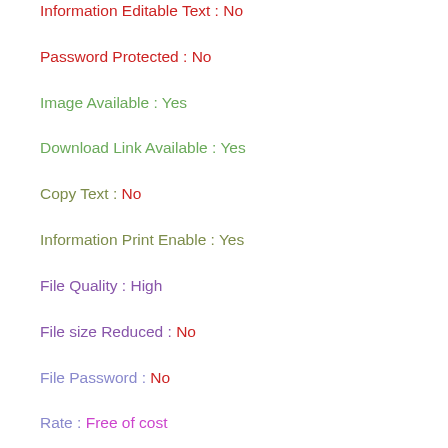Information Editable Text : No
Password Protected : No
Image Available : Yes
Download Link Available : Yes
Copy Text : No
Information Print Enable : Yes
File Quality : High
File size Reduced : No
File Password : No
Rate : Free of cost
For Personal Use Only
Save water,Save life's.!!